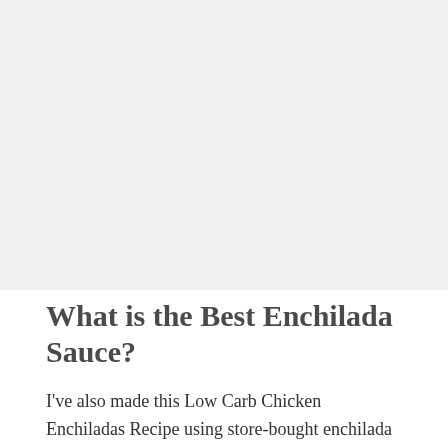[Figure (photo): Large image placeholder area, light gray background, likely a food photo of enchiladas]
What is the Best Enchilada Sauce?
I've also made this Low Carb Chicken Enchiladas Recipe using store-bought enchilada sauce, and it